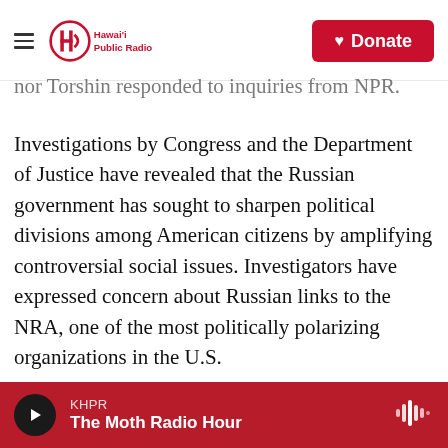Hawai'i Public Radio | Donate
nor Torshin responded to inquiries from NPR.
Investigations by Congress and the Department of Justice have revealed that the Russian government has sought to sharpen political divisions among American citizens by amplifying controversial social issues. Investigators have expressed concern about Russian links to the NRA, one of the most politically polarizing organizations in the U.S.
Torshin is a former Russian senator and served as the deputy speaker of Russia's parliament for more than a decade. Known as a Putin ally, he also spent time on Russia's National Anti-Terrorism
KHPR | The Moth Radio Hour